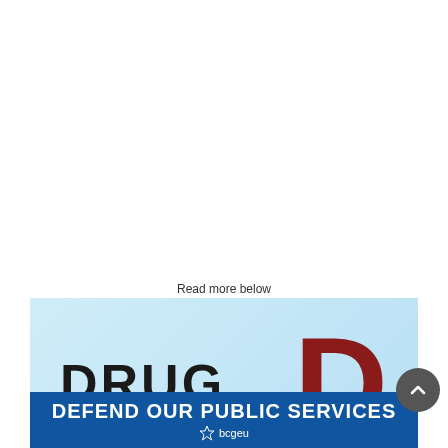Read more below
[Figure (illustration): Partial view of a drug policy report cover with light blue background showing the word DRUG in bold black letters and a large red D letter. Below is a blue banner reading DEFEND OUR PUBLIC SERVICES with the BCGEU logo.]
DEFEND OUR PUBLIC SERVICES
[Figure (logo): BCGEU logo with star icon and text bcgeu in white on blue background]